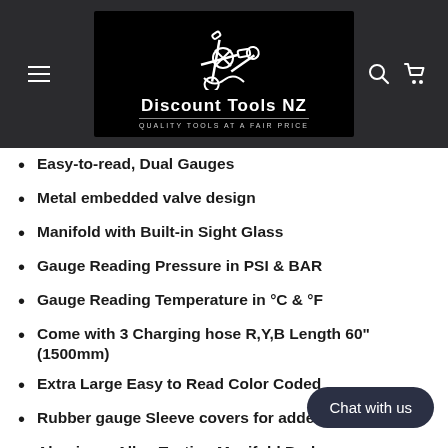Discount Tools NZ — QUALITY TOOLS AT A FAIR PRICE
Easy-to-read, Dual Gauges
Metal embedded valve design
Manifold with Built-in Sight Glass
Gauge Reading Pressure in PSI & BAR
Gauge Reading Temperature in °C & °F
Come with 3 Charging hose R,Y,B Length 60" (1500mm)
Extra Large Easy to Read Color Coded
Rubber gauge Sleeve covers for added
Aluminum Alloy Testing Manifold Body